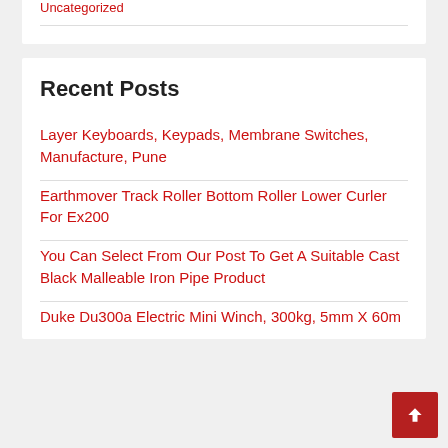Uncategorized
Recent Posts
Layer Keyboards, Keypads, Membrane Switches, Manufacture, Pune
Earthmover Track Roller Bottom Roller Lower Curler For Ex200
You Can Select From Our Post To Get A Suitable Cast Black Malleable Iron Pipe Product
Duke Du300a Electric Mini Winch, 300kg, 5mm X 60m